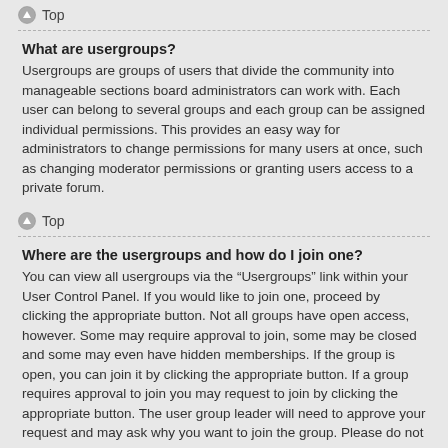Top
What are usergroups?
Usergroups are groups of users that divide the community into manageable sections board administrators can work with. Each user can belong to several groups and each group can be assigned individual permissions. This provides an easy way for administrators to change permissions for many users at once, such as changing moderator permissions or granting users access to a private forum.
Top
Where are the usergroups and how do I join one?
You can view all usergroups via the “Usergroups” link within your User Control Panel. If you would like to join one, proceed by clicking the appropriate button. Not all groups have open access, however. Some may require approval to join, some may be closed and some may even have hidden memberships. If the group is open, you can join it by clicking the appropriate button. If a group requires approval to join you may request to join by clicking the appropriate button. The user group leader will need to approve your request and may ask why you want to join the group. Please do not harass a group leader if they reject your request; they will have their reasons.
Top